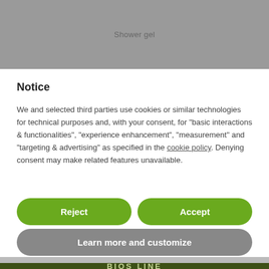[Figure (screenshot): Top gray banner showing partial product page with 'Shower gel' text]
Notice
We and selected third parties use cookies or similar technologies for technical purposes and, with your consent, for “basic interactions & functionalities”, “experience enhancement”, “measurement” and “targeting & advertising” as specified in the cookie policy. Denying consent may make related features unavailable.
[Figure (screenshot): Green Reject button and green Accept button side by side]
[Figure (screenshot): Gray Learn more and customize button]
[Figure (logo): Bios Line logo in dark green footer]